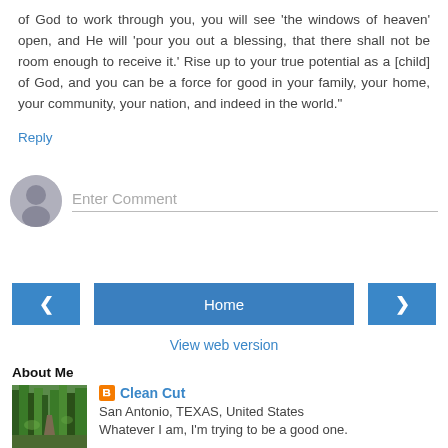of God to work through you, you will see 'the windows of heaven' open, and He will 'pour you out a blessing, that there shall not be room enough to receive it.' Rise up to your true potential as a [child] of God, and you can be a force for good in your family, your home, your community, your nation, and indeed in the world."
Reply
[Figure (other): Comment input area with avatar and Enter Comment placeholder]
[Figure (other): Navigation bar with left arrow, Home button, and right arrow buttons]
View web version
About Me
[Figure (photo): Forest path photo]
Clean Cut
San Antonio, TEXAS, United States
Whatever I am, I'm trying to be a good one.